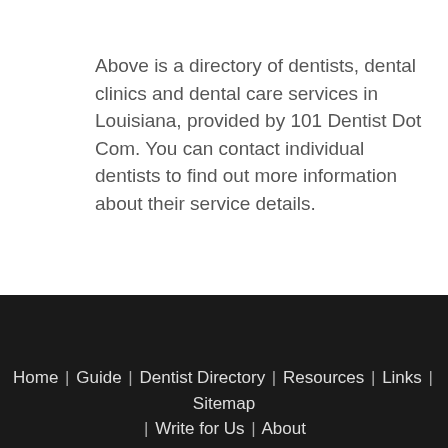Above is a directory of dentists, dental clinics and dental care services in Louisiana, provided by 101 Dentist Dot Com. You can contact individual dentists to find out more information about their service details.
Home | Guide | Dentist Directory | Resources | Links | Sitemap | Write for Us | About